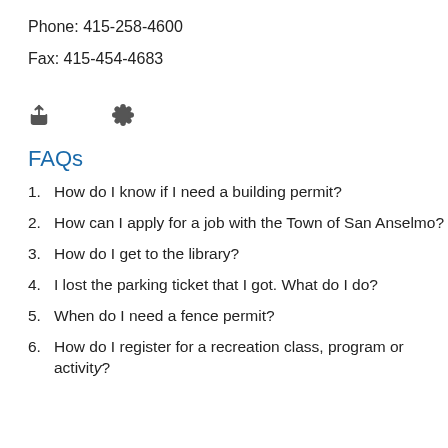Phone: 415-258-4600
Fax: 415-454-4683
[Figure (other): Two icon buttons: a share icon and a settings/gear icon]
FAQs
1. How do I know if I need a building permit?
2. How can I apply for a job with the Town of San Anselmo?
3. How do I get to the library?
4. I lost the parking ticket that I got. What do I do?
5. When do I need a fence permit?
6. How do I register for a recreation class, program or activity?